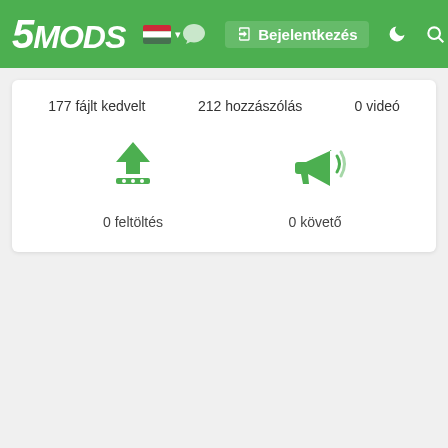[Figure (screenshot): 5MODS website header with green background, logo, Hungarian flag, login button, chat icon, moon icon, and search icon]
177 fájlt kedvelt
212 hozzászólás
0 videó
[Figure (illustration): Green upload icon (arrow with platform)]
0 feltöltés
[Figure (illustration): Green megaphone/announcement icon]
0 követő